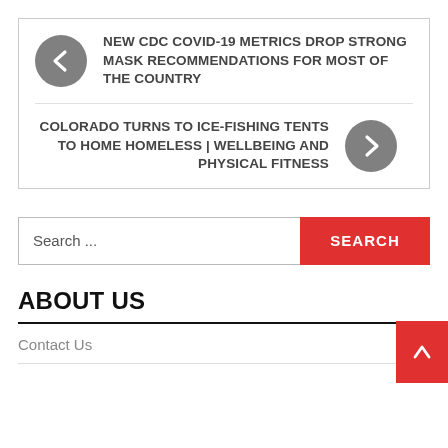NEW CDC COVID-19 METRICS DROP STRONG MASK RECOMMENDATIONS FOR MOST OF THE COUNTRY
COLORADO TURNS TO ICE-FISHING TENTS TO HOME HOMELESS | WELLBEING AND PHYSICAL FITNESS
Search ...
SEARCH
ABOUT US
Contact Us